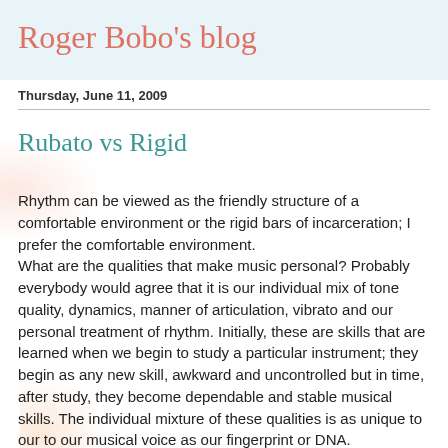Roger Bobo's blog
Thursday, June 11, 2009
Rubato vs Rigid
Rhythm can be viewed as the friendly structure of a comfortable environment or the rigid bars of incarceration; I prefer the comfortable environment.
What are the qualities that make music personal? Probably everybody would agree that it is our individual mix of tone quality, dynamics, manner of articulation, vibrato and our personal treatment of rhythm. Initially, these are skills that are learned when we begin to study a particular instrument; they begin as any new skill, awkward and uncontrolled but in time, after study, they become dependable and stable musical skills. The individual mixture of these qualities is as unique to our to our musical voice as our fingerprint or DNA.